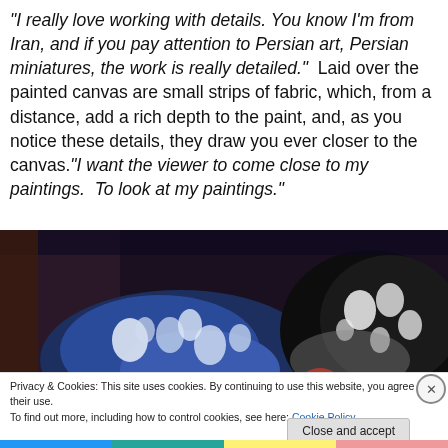“I really love working with details. You know I’m from Iran, and if you pay attention to Persian art, Persian miniatures, the work is really detailed.”  Laid over the painted canvas are small strips of fabric, which, from a distance, add a rich depth to the paint, and, as you notice these details, they draw you ever closer to the canvas.“I want the viewer to come close to my paintings.  To look at my paintings.”
[Figure (photo): Photo of colorful floral fabric pieces — blue and white floral print fabric piled on a dark background, along with black and white floral fabric.]
Privacy & Cookies: This site uses cookies. By continuing to use this website, you agree to their use.
To find out more, including how to control cookies, see here: Cookie Policy